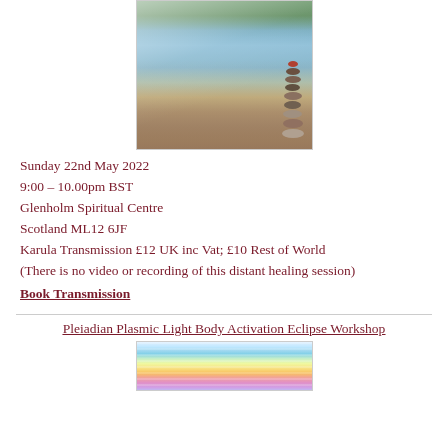[Figure (photo): Photograph of a waterfall with stacked stones (cairn) in the foreground and mossy green rocks in the background, taken at a river/stream setting.]
Sunday 22nd May 2022
9:00 – 10.00pm BST
Glenholm Spiritual Centre
Scotland ML12 6JF
Karula Transmission £12 UK inc Vat; £10 Rest of World
(There is no video or recording of this distant healing session)
Book Transmission
Pleiadian Plasmic Light Body Activation Eclipse Workshop
[Figure (photo): Colorful rainbow light rays image, likely depicting angelic or spiritual light body activation artwork.]